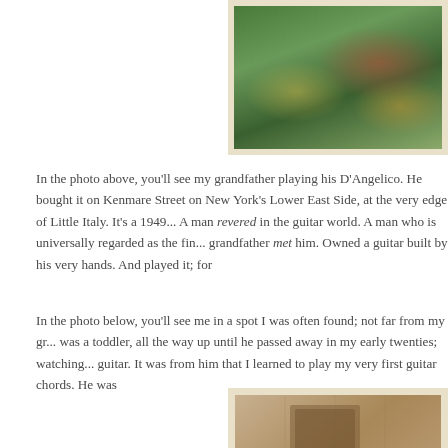[Figure (photo): Partial view of a framed photograph (top portion), showing a colorful image with greens and reds, likely a Christmas or decorative scene. The frame has a cream/ivory border.]
In the photo above, you'll see my grandfather playing his D'Angelico. He bought it on Kenmare Street on New York's Lower East Side, at the very edge of Little Italy. It's a 1949... A man revered in the guitar world. A man who is universally regarded as the fin... grandfather met him. Owned a guitar built by his very hands. And played it; for
In the photo below, you'll see me in a spot I was often found; not far from my gr... was a toddler, all the way up until he passed away in my early twenties; watching... guitar. It was from him that I learned to play my very first guitar chords. He was
[Figure (photo): Partial view of a framed photograph (bottom portion), showing what appears to be an indoor room scene with warm brown tones, wooden paneling or furniture visible.]